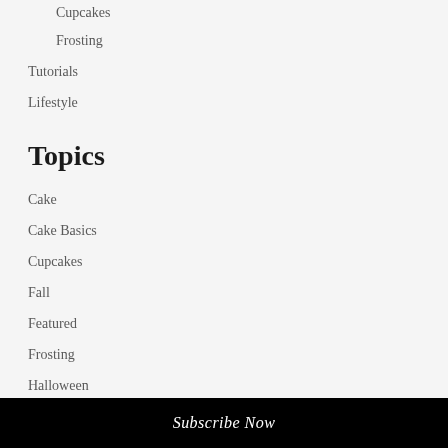Cupcakes
Frosting
Tutorials
Lifestyle
Topics
Cake
Cake Basics
Cupcakes
Fall
Featured
Frosting
Halloween
Holiday
Subscribe Now